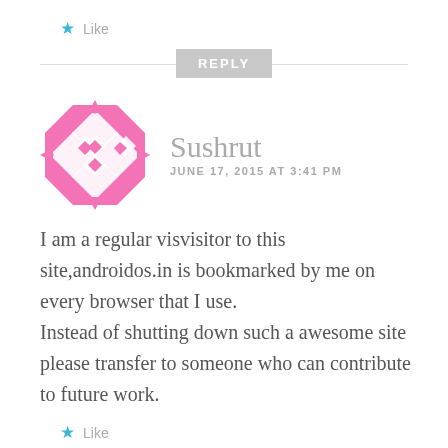★ Like
[Figure (illustration): A gray 'REPLY' button centered on a horizontal divider line]
[Figure (illustration): A pink decorative avatar icon with a geometric quilt-like pattern]
Sushrut
JUNE 17, 2015 AT 3:41 PM
I am a regular visvisitor to this site,androidos.in is bookmarked by me on every browser that I use.
Instead of shutting down such a awesome site please transfer to someone who can contribute to future work.
★ Like